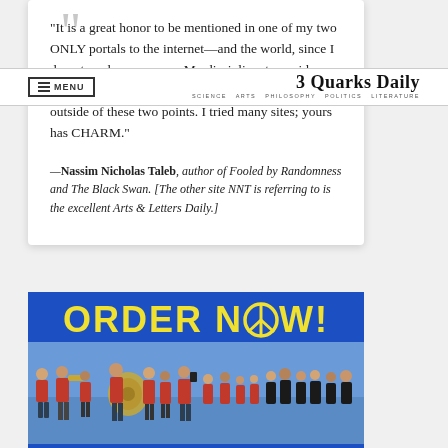"It is a great honor to be mentioned in one of my two ONLY portals to the internet—and the world, since I do not read newspapers. My discipline, to avoid drowning in information, is not to cruise the web outside of these two points. I tried many sites; yours has CHARM."
—Nassim Nicholas Taleb, author of Fooled by Randomness and The Black Swan. [The other site NNT is referring to is the excellent Arts & Letters Daily.]
[Figure (other): Advertisement banner with blue background, yellow bold text reading 'ORDER NOW!' with a peace symbol replacing the O in NOW, and a photo of a group of people in red shirts playing brass instruments near water.]